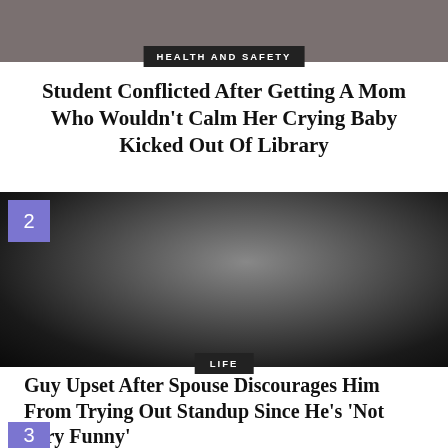[Figure (photo): Partial photo at top of page, showing a blurred/dark background scene, likely a person or animal]
HEALTH AND SAFETY
Student Conflicted After Getting A Mom Who Wouldn't Calm Her Crying Baby Kicked Out Of Library
[Figure (photo): Photo of a man in a gray suit and bow tie holding a microphone, performing standup comedy against a dark background. Number badge '2' in purple square top-left.]
LIFE
Guy Upset After Spouse Discourages Him From Trying Out Standup Since He's 'Not Very Funny'
[Figure (other): Partial purple square badge with number '3' at bottom of page]